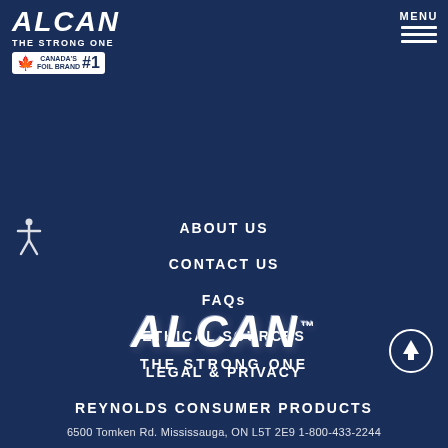[Figure (logo): ALCAN logo - THE STRONG ONE, Canada's #1 Foil Brand badge, top left header]
[Figure (other): MENU button with hamburger lines, top right]
[Figure (other): Accessibility icon (person with arms out) on left side]
ABOUT US
CONTACT US
FAQs
ETHICAL SOURCES
LEGAL & PRIVACY
REYNOLDS CONSUMER PRODUCTS
[Figure (logo): ALCAN THE STRONG ONE large bottom logo with scroll-up circle arrow button]
6500 Tomken Rd. Mississauga, ON L5T 2E9 1-800-433-2244